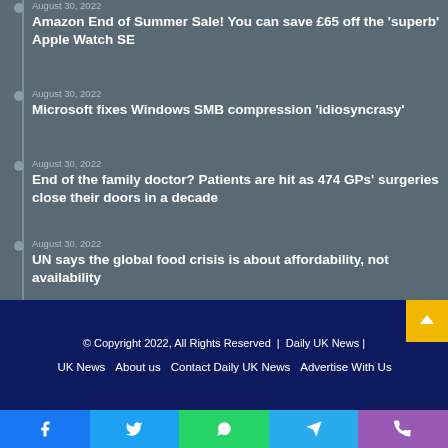August 30, 2022 — Amazon End of Summer Sale! You can save £65 off the 'superb' Apple Watch SE
August 30, 2022 — Microsoft fixes Windows SMB compression 'idiosyncrasy'
August 30, 2022 — End of the family doctor? Patients are hit as 474 GPs' surgeries close their doors in a decade
August 30, 2022 — UN says the global food crisis is about affordability, not availability
© Copyright 2022, All Rights Reserved  |  Daily UK News |  UK News   About us   Contact Daily UK News   Advertise With Us